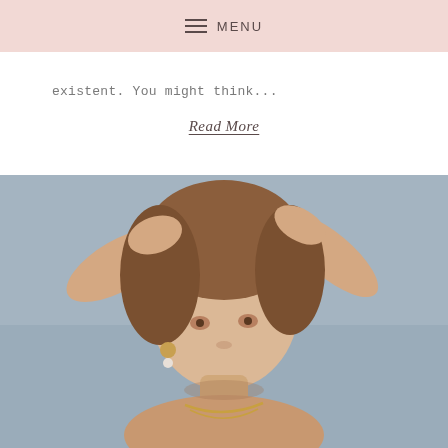MENU
existent. You might think...
Read More
[Figure (photo): Portrait photo of a young woman with auburn curly hair, hands raised behind her head, wearing gold hoop earrings with pearl drops and a gold chain necklace, neutral expression, grey background]